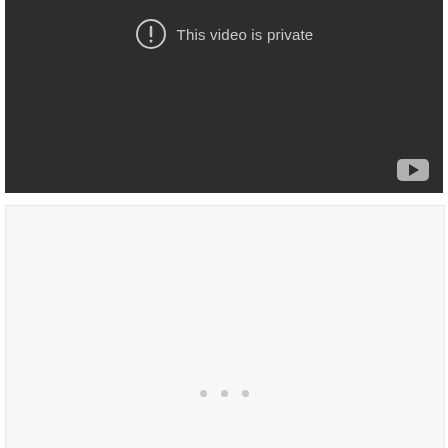[Figure (screenshot): Embedded video player showing a dark gray background with a circle exclamation icon and text 'This video is private'. A YouTube play button is in the bottom-right corner.]
[Figure (other): Light gray empty content block below the video, with three small dots centered near the bottom indicating a loading or placeholder state.]